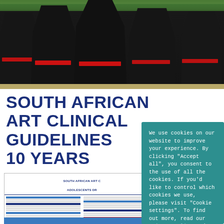[Figure (photo): Group of people wearing black traditional costumes with red trim accents, viewed from behind, with green foliage at top]
SOUTH AFRICAN ART CLINICAL GUIDELINES 10 YEARS
[Figure (screenshot): Thumbnail of a South African Art clinical guidelines document showing a table with blue and red sections]
We use cookies on our website to improve your experience. By clicking "Accept all", you consent to the use of all the cookies. If you'd like to control which cookies we use, please visit "Cookie settings". To find out more, read our privacy policy and cookie policy.
Cookie settings
Accept all